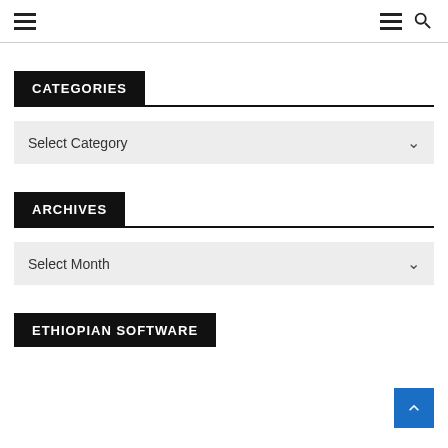Navigation header with hamburger menu and search icon
CATEGORIES
Select Category
ARCHIVES
Select Month
ETHIOPIAN SOFTWARE